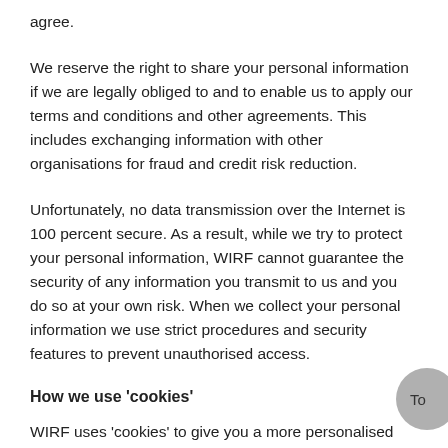agree.
We reserve the right to share your personal information if we are legally obliged to and to enable us to apply our terms and conditions and other agreements. This includes exchanging information with other organisations for fraud and credit risk reduction.
Unfortunately, no data transmission over the Internet is 100 percent secure. As a result, while we try to protect your personal information, WIRF cannot guarantee the security of any information you transmit to us and you do so at your own risk. When we collect your personal information we use strict procedures and security features to prevent unauthorised access.
How we use 'cookies'
WIRF uses 'cookies' to give you a more personalised web service and improve your experience of our website. A 'cookie' is a small text file we pass to your computer's hard